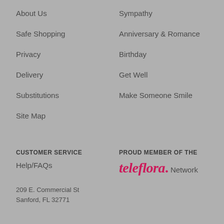About Us
Sympathy
Safe Shopping
Anniversary & Romance
Privacy
Birthday
Delivery
Get Well
Substitutions
Make Someone Smile
Site Map
CUSTOMER SERVICE
Help/FAQs
PROUD MEMBER OF THE
teleflora. Network
209 E. Commercial St
Sanford, FL 32771